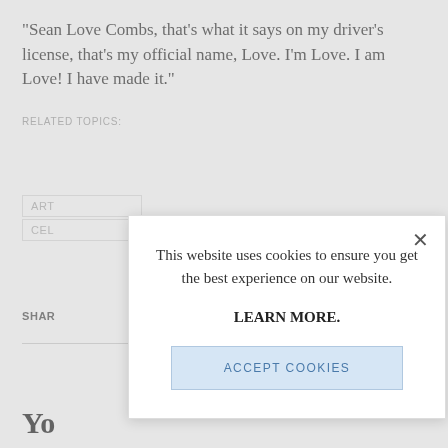“Sean Love Combs, that’s what it says on my driver’s license, that’s my official name, Love. I’m Love. I am Love! I have made it.”
RELATED TOPICS:
ART
CEL
SHAR
Yo
This website uses cookies to ensure you get the best experience on our website.

LEARN MORE.

ACCEPT COOKIES